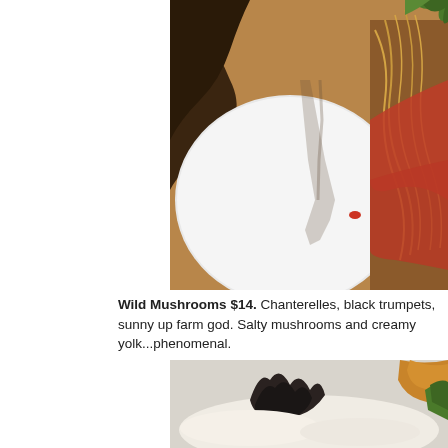[Figure (photo): Close-up photo of a pasta dish on a white plate on a wooden table. The pasta is topped with red tomato sauce and green herbs/lettuce. A fork's shadow is cast across the plate.]
Wild Mushrooms $14.  Chanterelles, black trumpets, sunny up farm god. Salty mushrooms and creamy yolk...phenomenal.
[Figure (photo): Close-up photo of a dish with dark mushrooms (black trumpets), white creamy sauce or cheese, and green lettuce/herbs, with a golden-brown element in the upper right corner.]